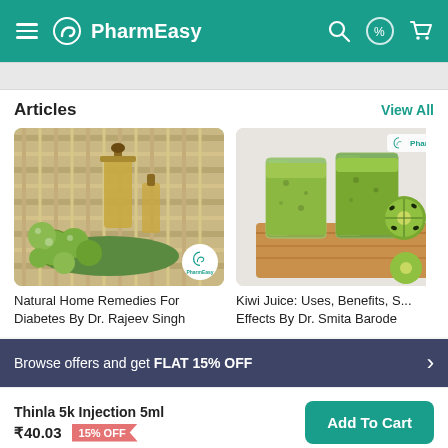PharmEasy
Articles
View All
[Figure (photo): Green amla fruits with a glass bottle of oil on a wicker mat background, PharmEasy watermark]
Natural Home Remedies For Diabetes By Dr. Rajeev Singh
[Figure (photo): Two glasses of green kiwi juice with kiwi fruit halves on a wooden board, PharmEasy logo watermark]
Kiwi Juice: Uses, Benefits, S... Effects By Dr. Smita Barode
Browse offers and get FLAT 15% OFF
Thinla 5k Injection 5ml ₹40.03 15% OFF
Add To Cart